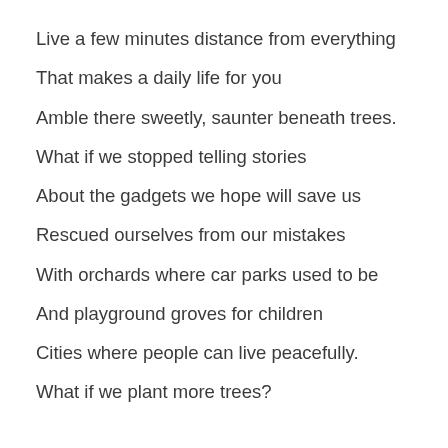Live a few minutes distance from everything
That makes a daily life for you
Amble there sweetly, saunter beneath trees.
What if we stopped telling stories
About the gadgets we hope will save us
Rescued ourselves from our mistakes
With orchards where car parks used to be
And playground groves for children
Cities where people can live peacefully.
What if we plant more trees?